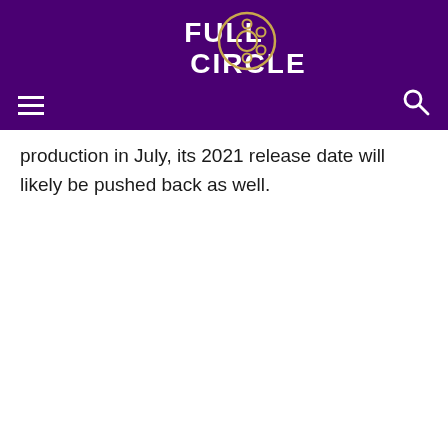[Figure (logo): Full Circle logo with film reel icon on dark purple background]
production in July, its 2021 release date will likely be pushed back as well.